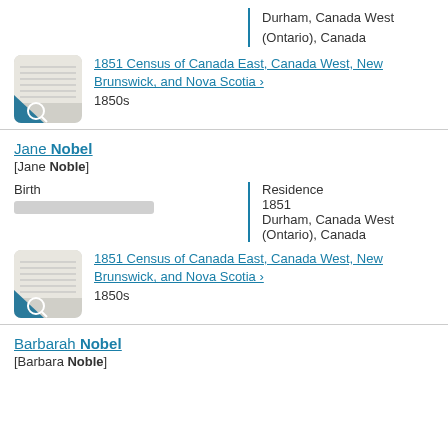Durham, Canada West (Ontario), Canada
[Figure (photo): Thumbnail of a census document record]
1851 Census of Canada East, Canada West, New Brunswick, and Nova Scotia > 1850s
Jane Nobel [Jane Noble]
Birth | Residence 1851 Durham, Canada West (Ontario), Canada
[Figure (photo): Thumbnail of a census document record]
1851 Census of Canada East, Canada West, New Brunswick, and Nova Scotia > 1850s
Barbarah Nobel [Barbara Noble]